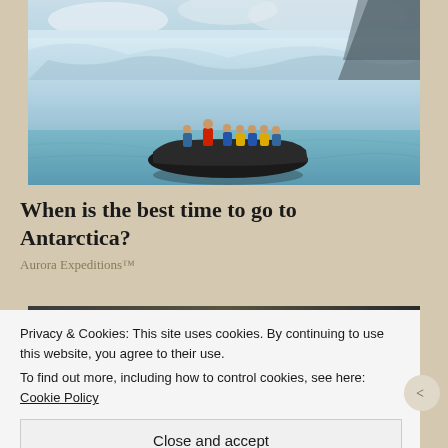[Figure (photo): Zodiac inflatable boat with tourists in colorful life jackets navigating near a large glacier wall with turquoise water in Antarctica]
When is the best time to go to Antarctica?
Aurora Expeditions™
[Figure (photo): Partially visible image showing bokeh lights and an indoor scene, partially obscured by cookie consent overlay]
Privacy & Cookies: This site uses cookies. By continuing to use this website, you agree to their use.
To find out more, including how to control cookies, see here: Cookie Policy
Close and accept